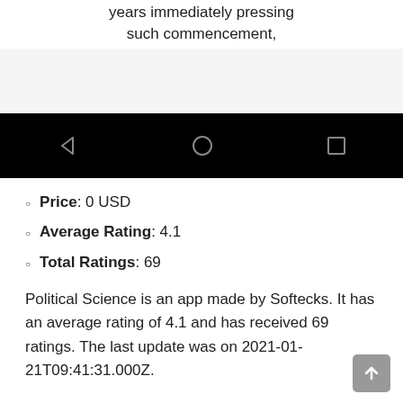years immediately preceding such commencement,
[Figure (screenshot): Android navigation bar with back, home, and recents buttons on black background]
Price: 0 USD
Average Rating: 4.1
Total Ratings: 69
Political Science is an app made by Softecks. It has an average rating of 4.1 and has received 69 ratings. The last update was on 2021-01-21T09:41:31.000Z.